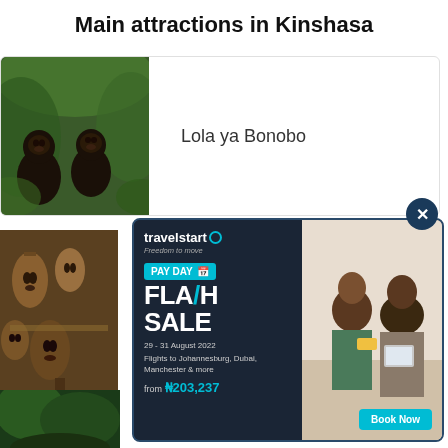Main attractions in Kinshasa
[Figure (photo): Two bonobos sitting among green foliage]
Lola ya Bonobo
[Figure (photo): African wooden masks and sculptures on display]
[Figure (photo): Lush green tropical forest/valley]
Las De Ma Vallee
[Figure (infographic): Travelstart Pay Day Flash Sale advertisement. 29 - 31 August 2022. Flights to Johannesburg, Dubai, Manchester & more. from ₦203,237. Book Now.]